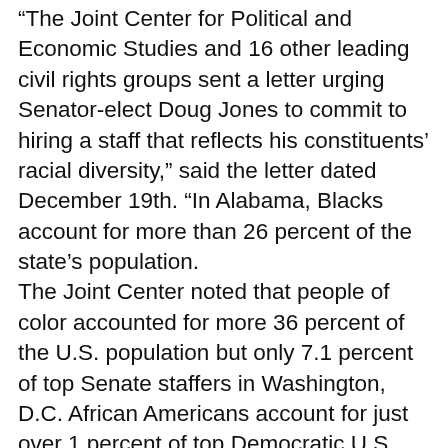“The Joint Center for Political and Economic Studies and 16 other leading civil rights groups sent a letter urging Senator-elect Doug Jones to commit to hiring a staff that reflects his constituents’ racial diversity,” said the letter dated December 19th. “In Alabama, Blacks account for more than 26 percent of the state’s population. The Joint Center noted that people of color accounted for more 36 percent of the U.S. population but only 7.1 percent of top Senate staffers in Washington, D.C. African Americans account for just over 1 percent of top Democratic U.S. Senate staff in Washington, D.C. and just over 2 percent of top Republican U.S. Senate staff. Senior Staff in these studies is defined as chief of staff, legislative director, communications director, and committee staff